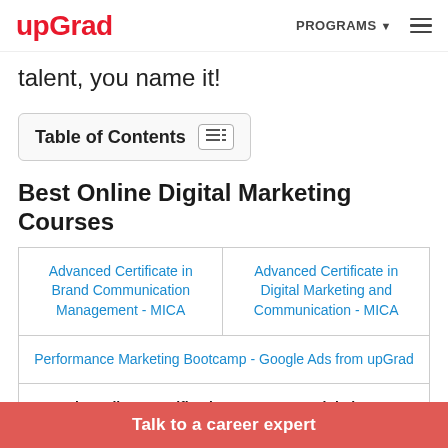upGrad | PROGRAMS ☰
talent, you name it!
Table of Contents
Best Online Digital Marketing Courses
| Advanced Certificate in Brand Communication Management - MICA | Advanced Certificate in Digital Marketing and Communication - MICA |
| Performance Marketing Bootcamp - Google Ads from upGrad |
| To explore all our certification courses on Digital Marketing, |
Talk to a career expert